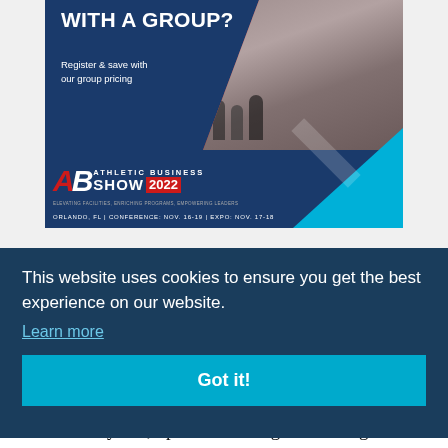[Figure (illustration): Athletic Business Show 2022 advertisement banner with navy blue background, group photo of conference attendees, AB logo in red/white, text 'WITH A GROUP?', 'Register & save with our group pricing', 'ORLANDO, FL | CONFERENCE: NOV. 16-19 | EXPO: NOV. 17-18']
This website uses cookies to ensure you get the best experience on our website.
Learn more
Got it!
allow
or
t
Debated for years, updated NIL legislation began to